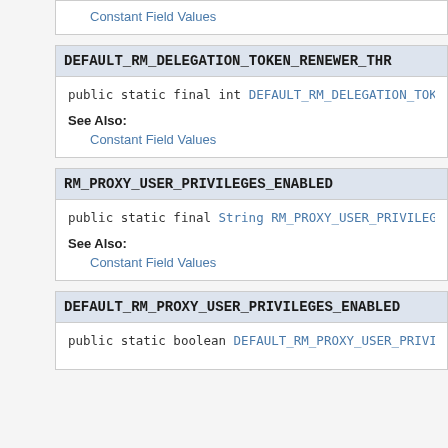Constant Field Values
DEFAULT_RM_DELEGATION_TOKEN_RENEWER_THR...
public static final int DEFAULT_RM_DELEGATION_TOKEN_R...
See Also:
Constant Field Values
RM_PROXY_USER_PRIVILEGES_ENABLED
public static final String RM_PROXY_USER_PRIVILEGES_E...
See Also:
Constant Field Values
DEFAULT_RM_PROXY_USER_PRIVILEGES_ENABLED...
public static boolean DEFAULT_RM_PROXY_USER_PRIVILEGE...